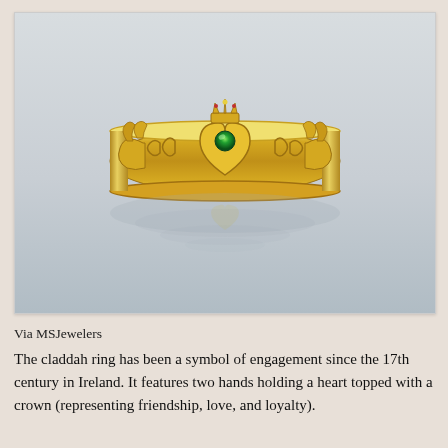[Figure (photo): A gold Claddagh ring with a green emerald heart stone, featuring two hands holding a crowned heart, photographed on a light grey background with a reflection below.]
Via MSJewelers
The claddah ring has been a symbol of engagement since the 17th century in Ireland. It features two hands holding a heart topped with a crown (representing friendship, love, and loyalty).